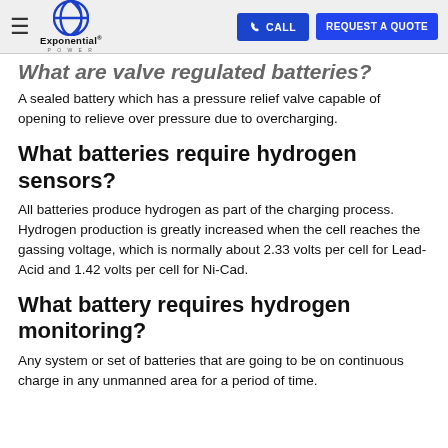≡  Exponential Power  |  CALL  REQUEST A QUOTE
What are valve regulated batteries?
A sealed battery which has a pressure relief valve capable of opening to relieve over pressure due to overcharging.
What batteries require hydrogen sensors?
All batteries produce hydrogen as part of the charging process. Hydrogen production is greatly increased when the cell reaches the gassing voltage, which is normally about 2.33 volts per cell for Lead-Acid and 1.42 volts per cell for Ni-Cad.
What battery requires hydrogen monitoring?
Any system or set of batteries that are going to be on continuous charge in any unmanned area for a period of time.